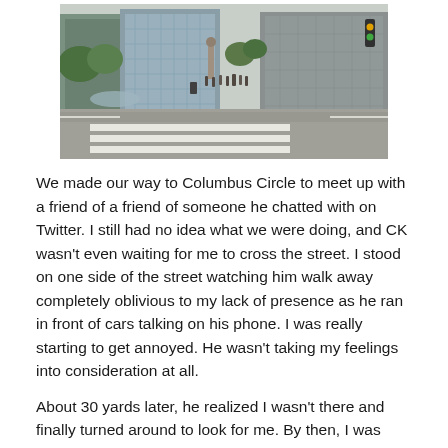[Figure (photo): Street-level photo of Columbus Circle in New York City showing a crosswalk with white pedestrian stripes in the foreground, a wide road, people walking in the background near a monument, fountains, trees, and tall glass buildings. A traffic light is visible on the right.]
We made our way to Columbus Circle to meet up with a friend of a friend of someone he chatted with on Twitter. I still had no idea what we were doing, and CK wasn't even waiting for me to cross the street. I stood on one side of the street watching him walk away completely oblivious to my lack of presence as he ran in front of cars talking on his phone. I was really starting to get annoyed. He wasn't taking my feelings into consideration at all.
About 30 yards later, he realized I wasn't there and finally turned around to look for me. By then, I was approaching